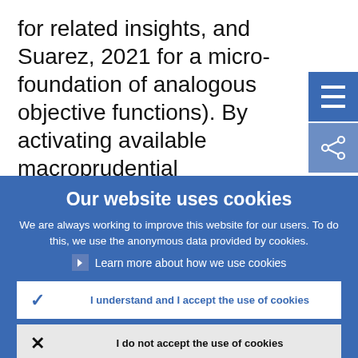for related insights, and Suarez, 2021 for a micro-foundation of analogous objective functions). By activating available macroprudential instruments, the macroprudential policymaker maximises
[Figure (screenshot): Cookie consent overlay on a website. Blue background with title 'Our website uses cookies', explanatory text, a 'Learn more about how we use cookies' link, an accept button (blue checkmark, 'I understand and I accept the use of cookies' in blue text on white background), and a reject button (X icon, 'I do not accept the use of cookies' in bold black text on light grey background). Top right shows a hamburger menu icon (dark blue) and a share icon (medium blue).]
Our website uses cookies
We are always working to improve this website for our users. To do this, we use the anonymous data provided by cookies.
Learn more about how we use cookies
I understand and I accept the use of cookies
I do not accept the use of cookies